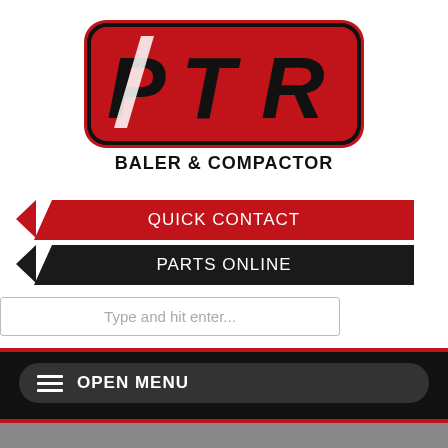[Figure (logo): PTR Baler & Compactor logo — red rounded rectangle with bold black PTR letters and white 'Baler & Compactor' text below]
QUICK CONTACT
PARTS ONLINE
Type and hit enter...
OPEN MENU
TR 4000HD